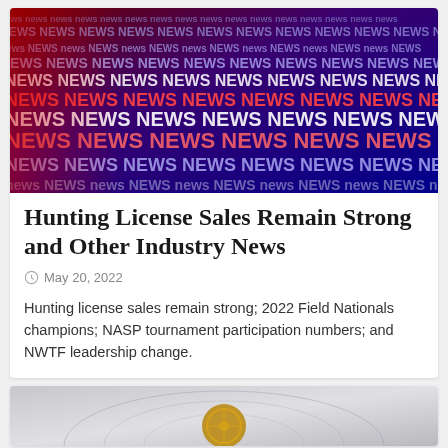[Figure (photo): Dark background with repeating 'NEWS' text in red, white, and blue colors arranged in diagonal rows, resembling a news broadcast backdrop]
Hunting License Sales Remain Strong and Other Industry News
May 20, 2022
Hunting license sales remain strong; 2022 Field Nationals champions; NASP tournament participation numbers; and NWTF leadership change.
[Figure (photo): Partial view of a second article card showing a broadcast news studio background with a circular logo emblem in gold/bronze color]